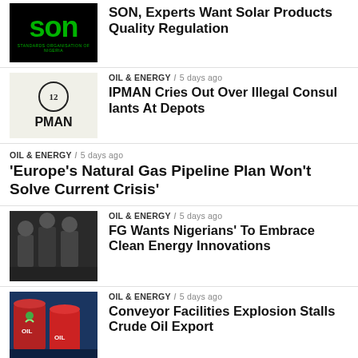[Figure (photo): SON (Standards Organisation of Nigeria) logo in green on black background]
SON, Experts Want Solar Products Quality Regulation
[Figure (photo): IPMAN (Independent Petroleum Marketers Association of Nigeria) logo]
OIL & ENERGY / 5 days ago
IPMAN Cries Out Over Illegal Consul Iants At Depots
OIL & ENERGY / 5 days ago
'Europe's Natural Gas Pipeline Plan Won't Solve Current Crisis'
[Figure (photo): Group of men in suits at a meeting or press conference]
OIL & ENERGY / 5 days ago
FG Wants Nigerians' To Embrace Clean Energy Innovations
[Figure (photo): Red oil barrels/drums with OIL label against blue background]
OIL & ENERGY / 5 days ago
Conveyor Facilities Explosion Stalls Crude Oil Export
[Figure (photo): Person's face, partially visible]
NEWS / 5 days ago
UNIPORT Rector Stir Nigerian...